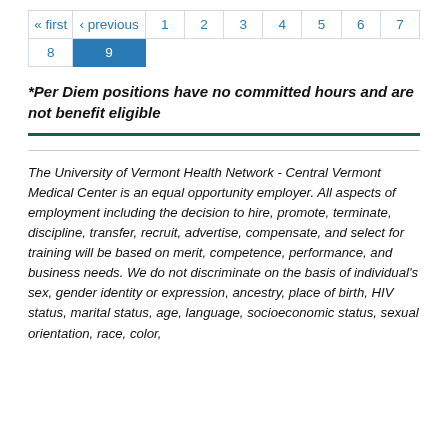| « first | ‹ previous | 1 | 2 | 3 | 4 | 5 | 6 | 7 |
| 8 | 9 |  |  |  |  |  |  |  |
*Per Diem positions have no committed hours and are not benefit eligible
The University of Vermont Health Network - Central Vermont Medical Center is an equal opportunity employer. All aspects of employment including the decision to hire, promote, terminate, discipline, transfer, recruit, advertise, compensate, and select for training will be based on merit, competence, performance, and business needs. We do not discriminate on the basis of individual's sex, gender identity or expression, ancestry, place of birth, HIV status, marital status, age, language, socioeconomic status, sexual orientation, race, color,